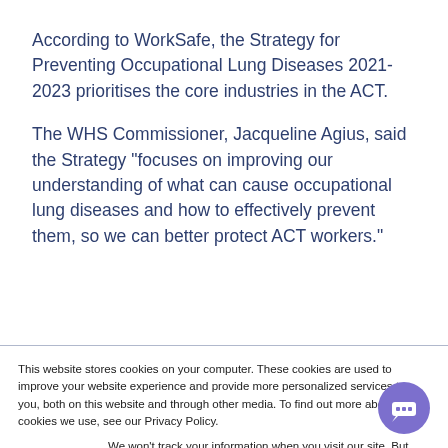According to WorkSafe, the Strategy for Preventing Occupational Lung Diseases 2021-2023 prioritises the core industries in the ACT.
The WHS Commissioner, Jacqueline Agius, said the Strategy "focuses on improving our understanding of what can cause occupational lung diseases and how to effectively prevent them, so we can better protect ACT workers."
This website stores cookies on your computer. These cookies are used to improve your website experience and provide more personalized services to you, both on this website and through other media. To find out more about the cookies we use, see our Privacy Policy.
We won't track your information when you visit our site. But in order to comply with your preferences, we'll have to use just one tiny cookie so that you're not asked to make this choice again.